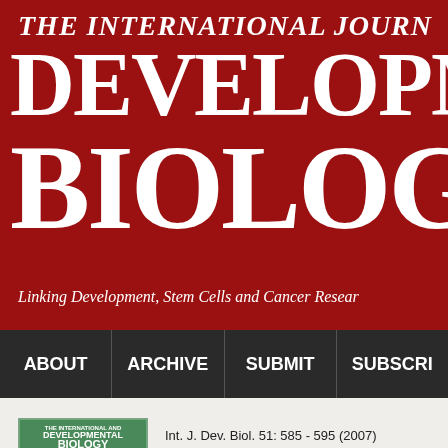THE INTERNATIONAL JOURNAL OF DEVELOPMENTAL BIOLOGY
Linking Development, Stem Cells and Cancer Research
ABOUT | ARCHIVE | SUBMIT | SUBSCRIBE
[Figure (photo): Cover image of The International Journal of Developmental Biology, showing a green cover with silver/metallic figurines]
Int. J. Dev. Biol. 51: 585 - 595 (2007)
doi: 10.1387/ijdb.072387sr
© UPV/EHU Press